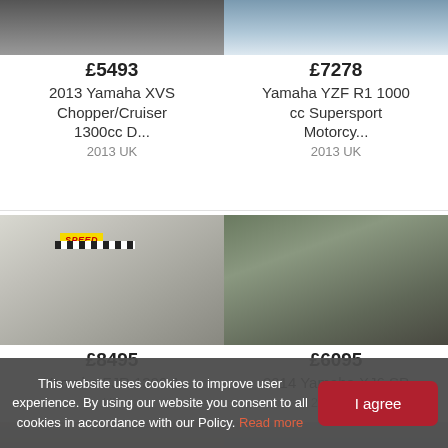[Figure (photo): Motorcycle listing photo - Yamaha XVS Chopper/Cruiser 1300cc, top portion visible, dark motorcycle]
[Figure (photo): Motorcycle listing photo - Yamaha YZF R1 1000cc Supersport, white/blue motorcycle partial]
£5493
2013 Yamaha XVS Chopper/Cruiser 1300cc D...
2013 UK
£7278
Yamaha YZF R1 1000 cc Supersport Motorcy...
2013 UK
[Figure (photo): Motorcycle listing photo - Yamaha FJR 1300 A, silver touring motorcycle with Speed dealer sign]
[Figure (photo): Motorcycle listing photo - 2014 Yamaha XJ6 SP, dark/black naked motorcycle]
£8495
Yamaha FJR 1300 A
UK
£6095
2014 Yamaha XJ6 SP
2014 UK
[Figure (photo): Partial motorcycle listing photo - bottom of page, left]
[Figure (photo): Partial motorcycle listing photo - bottom of page, right]
This website uses cookies to improve user experience. By using our website you consent to all cookies in accordance with our Policy. Read more
I agree